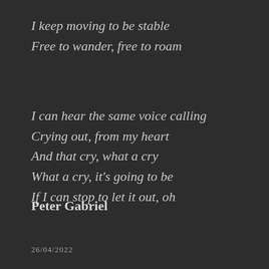I keep moving to be stable
Free to wander, free to roam
I can hear the same voice calling
Crying out, from my heart
And that cry, what a cry
What a cry, it's going to be
If I can stop to let it out, oh
Peter Gabriel
26/04/2022